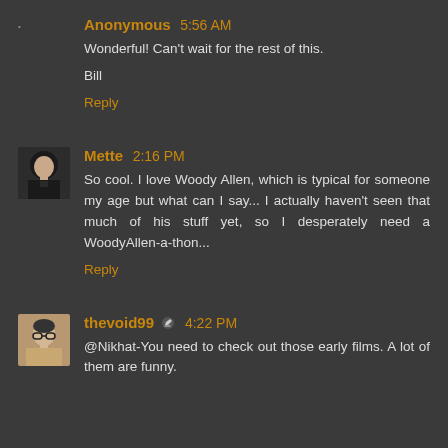Anonymous 5:56 AM
Wonderful! Can't wait for the rest of this.

Bill

Reply
Mette 2:16 PM
So cool. I love Woody Allen, which is typical for someone my age but what can I say... I actually haven't seen that much of his stuff yet, so I desperately need a WoodyAllen-a-thon...

Reply
thevoid99 [edit icon] 4:22 PM
@Nikhat-You need to check out those early films. A lot of them are funny.